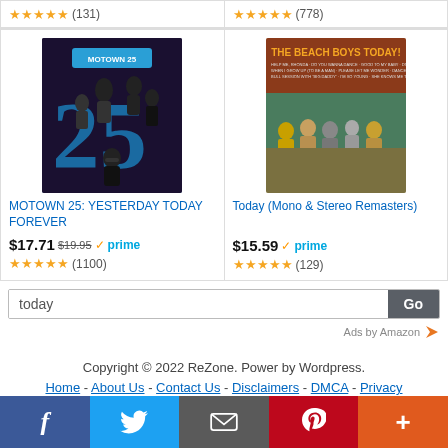★★★★★ (131)   ★★★★★ (778)
[Figure (photo): Album cover for MOTOWN 25: YESTERDAY TODAY FOREVER showing group of musicians with large '25' text]
[Figure (photo): Album cover for The Beach Boys Today! showing the band members from behind]
MOTOWN 25: YESTERDAY TODAY FOREVER
Today (Mono & Stereo Remasters)
$17.71  $19.95  ✓prime  ★★★★★ (1100)
$15.59  ✓prime  ★★★★★ (129)
today  Go
Ads by Amazon ▷
Copyright © 2022 ReZone. Power by Wordpress.
Home - About Us - Contact Us - Disclaimers - DMCA - Privacy